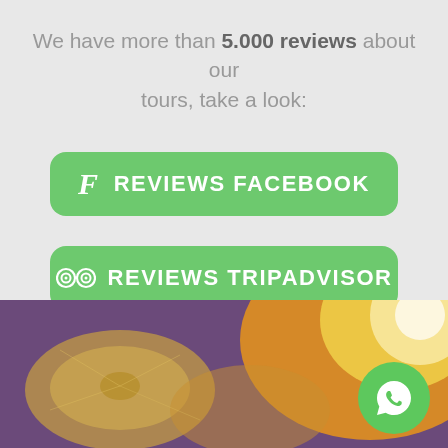We have more than 5.000 reviews about our tours, take a look:
[Figure (infographic): Green button with Facebook icon and text REVIEWS FACEBOOK]
[Figure (infographic): Green button with TripAdvisor owl icon and text REVIEWS TRIPADVISOR]
[Figure (photo): Bottom photo of musical cymbals in warm purple/gold tones with WhatsApp button overlay in bottom right]